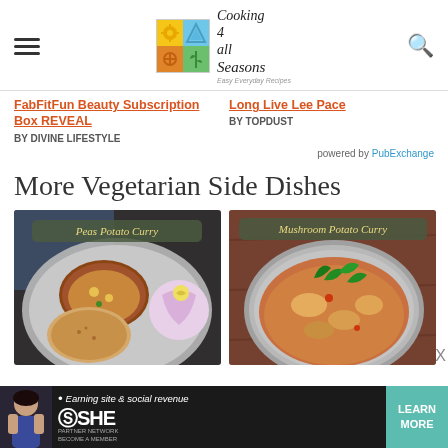Cooking 4 all Seasons — Easy Everyday Recipes
FabFitFun Beauty Subscription Box REVEAL BY DIVINE LIFESTYLE
Long Live Lee Pace BY TOPDUST
powered by PubExchange
More Vegetarian Side Dishes
[Figure (photo): Peas Potato Curry - Indian thali with curry, roti and salad]
[Figure (photo): Mushroom Potato Curry - Indian curry in a steel bowl with cilantro]
• Earning site & social revenue SHE PARTNER NETWORK BECOME A MEMBER LEARN MORE X